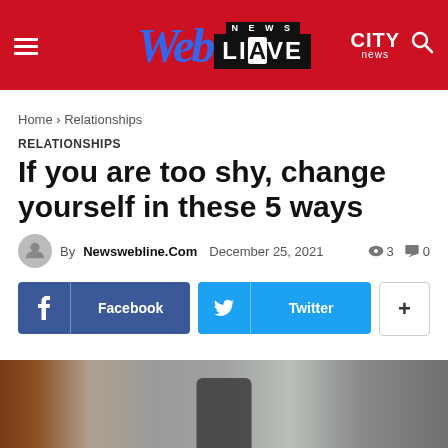WEB LIVE NEWS | CITY news
Home › Relationships
RELATIONSHIPS
If you are too shy, change yourself in these 5 ways
By Newswebline.Com  December 25, 2021  👁 3  💬 0
[Figure (other): Social share buttons: Facebook, Twitter, and a plus/more button]
[Figure (photo): A blurred outdoor street scene photo, partially visible at the bottom of the page]